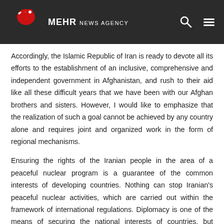MEHR NEWS AGENCY
Accordingly, the Islamic Republic of Iran is ready to devote all its efforts to the establishment of an inclusive, comprehensive and independent government in Afghanistan, and rush to their aid like all these difficult years that we have been with our Afghan brothers and sisters. However, I would like to emphasize that the realization of such a goal cannot be achieved by any country alone and requires joint and organized work in the form of regional mechanisms.
Ensuring the rights of the Iranian people in the area of a peaceful nuclear program is a guarantee of the common interests of developing countries. Nothing can stop Iranian's peaceful nuclear activities, which are carried out within the framework of international regulations. Diplomacy is one of the means of securing the national interests of countries, but diplomacy is effective when all parties adhere to it in practice. Threats and pressure weaken diplomacy and tie its hands. Unfortunately, some parties think that they can use diplomacy as a tool to threaten and pressure diplomacy in their own favor, while with this trick, they practically remove